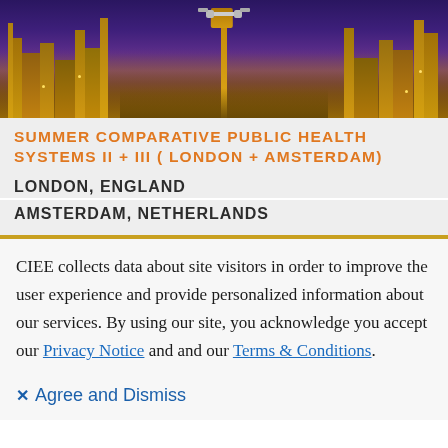[Figure (photo): Night cityscape photo showing illuminated Gothic architecture (likely London's Palace of Westminster/Big Ben area) glowing orange and gold against a purple twilight sky]
SUMMER COMPARATIVE PUBLIC HEALTH SYSTEMS II + III (LONDON + AMSTERDAM)
LONDON, ENGLAND
AMSTERDAM, NETHERLANDS
CIEE collects data about site visitors in order to improve the user experience and provide personalized information about our services. By using our site, you acknowledge you accept our Privacy Notice and and our Terms & Conditions.
✕ Agree and Dismiss